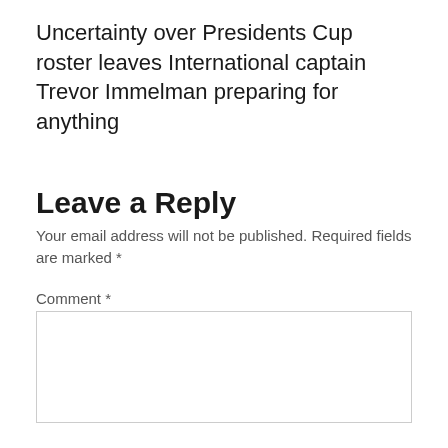Uncertainty over Presidents Cup roster leaves International captain Trevor Immelman preparing for anything
Leave a Reply
Your email address will not be published. Required fields are marked *
Comment *